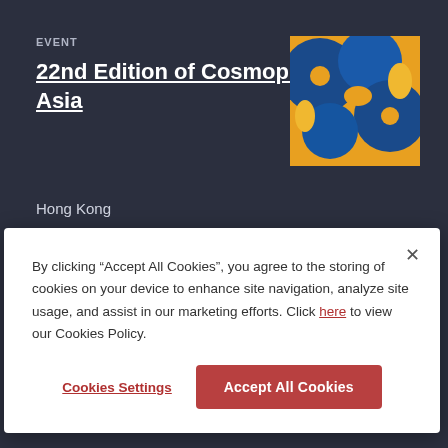EVENT
22nd Edition of Cosmoprof Asia
[Figure (photo): Close-up of blue and yellow flower petals/abstract shapes]
Hong Kong
November 17, 2017
EVENT
[Figure (photo): Partially visible thumbnail of a second event]
By clicking “Accept All Cookies”, you agree to the storing of cookies on your device to enhance site navigation, analyze site usage, and assist in our marketing efforts. Click here to view our Cookies Policy.
Cookies Settings
Accept All Cookies